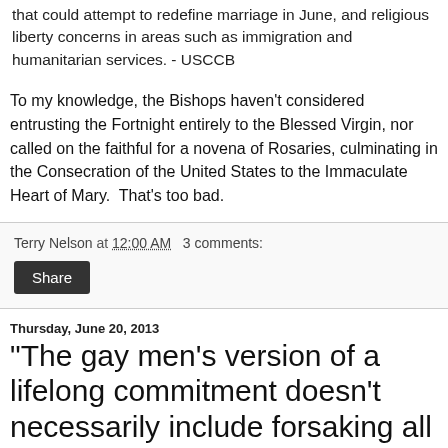that could attempt to redefine marriage in June, and religious liberty concerns in areas such as immigration and humanitarian services. - USCCB
To my knowledge, the Bishops haven't considered entrusting the Fortnight entirely to the Blessed Virgin, nor called on the faithful for a novena of Rosaries, culminating in the Consecration of the United States to the Immaculate Heart of Mary.  That's too bad.
Terry Nelson at 12:00 AM   3 comments:
Share
Thursday, June 20, 2013
"The gay men's version of a lifelong commitment doesn't necessarily include forsaking all others."